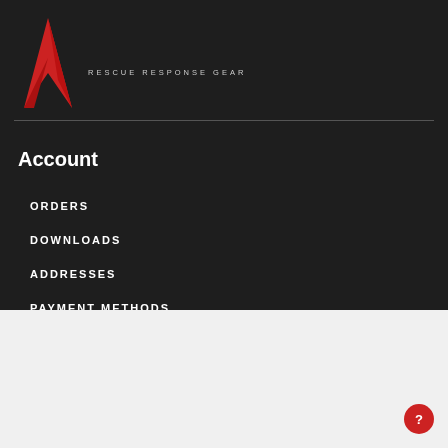[Figure (logo): Rescue Response Gear logo with red stylized bird/lightning mark and text RESCUE RESPONSE GEAR in light gray spaced letters]
Account
ORDERS
DOWNLOADS
ADDRESSES
PAYMENT METHODS
This website uses cookies to improve your experience. We'll assume you're ok with this, but you can opt-out if you wish.
Cookie settings  ACCEPT